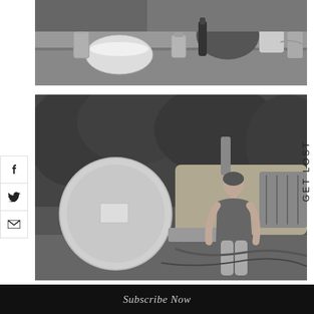[Figure (photo): Black and white photograph of a cluttered kitchen counter with bowls, jars, bottles, and various food items on a wooden surface.]
[Figure (photo): Black and white photograph of a woman sitting on a vintage tractor in front of dense foliage.]
f
Twitter bird icon
Email envelope icon
GET LOST
Subscribe Now